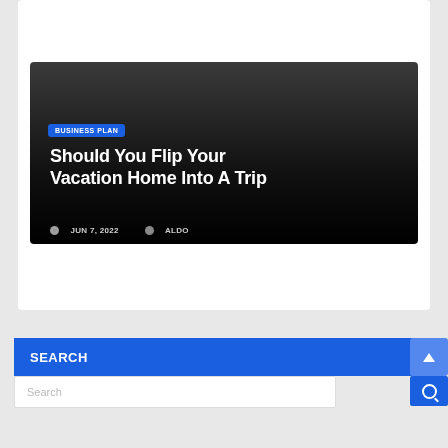[Figure (photo): Top portion of a dark/black image card, partially visible at the top of the page]
[Figure (screenshot): Article card with dark gradient background showing a blog post titled 'Should You Flip Your Vacation Home Into A Trip' with a BUSINESS PLAN badge, dated JUN 7, 2022 by ALDO]
Should You Flip Your Vacation Home Into A Trip
JUN 7, 2022   ALDO
SEARCH